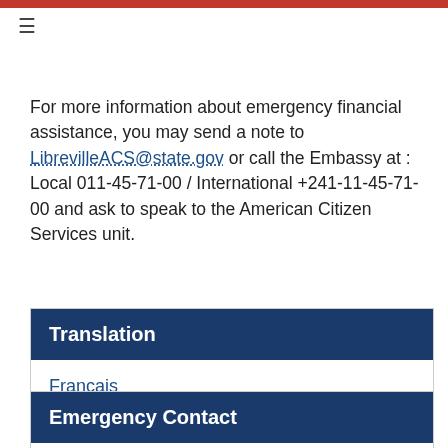≡
For more information about emergency financial assistance, you may send a note to LibrevilleACS@state.gov or call the Embassy at : Local 011-45-71-00 / International +241-11-45-71-00 and ask to speak to the American Citizen Services unit.
Translation
Français
Emergency Contact
Email: librevilleACS@state.gov